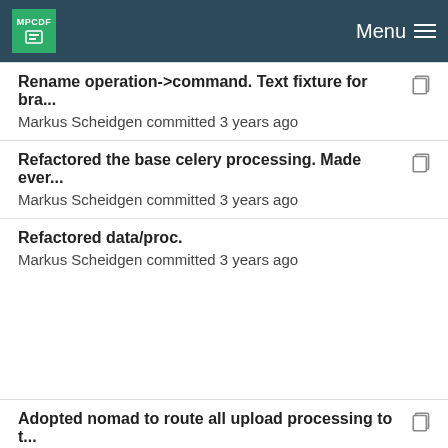MPCDF Menu
Rename operation->command. Text fixture for bra...
Markus Scheidgen committed 3 years ago
Refactored the base celery processing. Made ever...
Markus Scheidgen committed 3 years ago
Refactored data/proc.
Markus Scheidgen committed 3 years ago
Adopted nomad to route all upload processing to t...
Markus Scheidgen committed 3 years ago
Turned commit and delete of uploads into process...
Markus Scheidgen committed 3 years ago
Refactored data/proc.
Markus Scheidgen committed 3 years ago